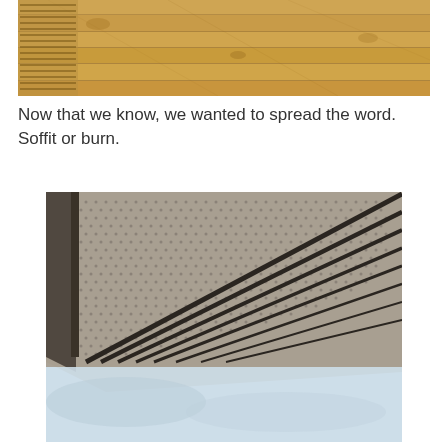[Figure (photo): Close-up photo of a wooden soffit viewed from below showing natural wood planks with visible grain and knots, with a ventilation strip along the top edge]
Now that we know, we wanted to spread the word. Soffit or burn.
[Figure (photo): Close-up photo of a perforated vinyl or aluminum soffit panel with dark decorative lines/channels, viewed from below at an angle, with a gutter visible at the corner, sky visible in background]